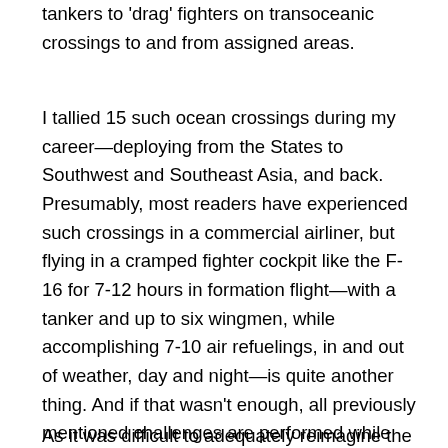tankers to 'drag' fighters on transoceanic crossings to and from assigned areas.
I tallied 15 such ocean crossings during my career—deploying from the States to Southwest and Southeast Asia, and back. Presumably, most readers have experienced such crossings in a commercial airliner, but flying in a cramped fighter cockpit like the F-16 for 7-12 hours in formation flight—with a tanker and up to six wingmen, while accomplishing 7-10 air refuelings, in and out of weather, day and night—is quite another thing. And if that wasn't enough, all previously mentioned challenges are performed while crossing multiple time zones, and often the International Date Line, while maintaining constant vigilance without a single nap.
As it was difficult to adequately reimagine the details to the...